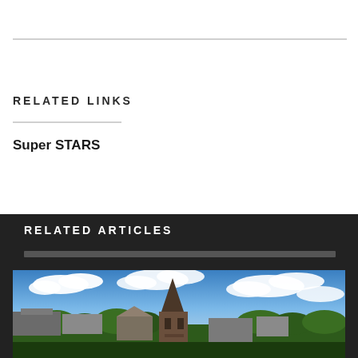RELATED LINKS
Super STARS
RELATED ARTICLES
[Figure (photo): Aerial view of a town with a brick church steeple in the foreground, surrounded by trees under a blue sky with white clouds]